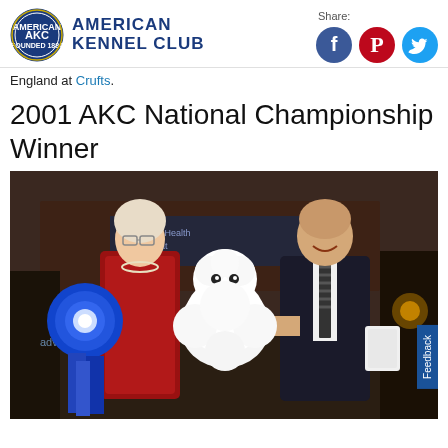[Figure (logo): American Kennel Club logo with AKC seal and blue text 'American Kennel Club']
Share:
[Figure (infographic): Social share icons: Facebook (blue circle), Pinterest (red circle), Twitter (light blue circle)]
England at Crufts.
2001 AKC National Championship Winner
[Figure (photo): Photo of an elderly woman in red sequined outfit holding a large blue ribbon rosette, and a man in a dark suit holding a white Bichon Frise dog. They are posing at the 2001 AKC National Championship event.]